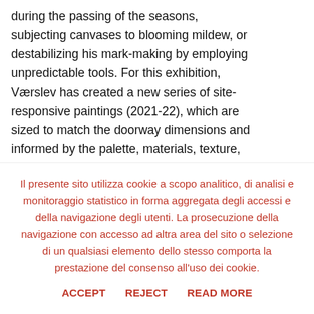during the passing of the seasons, subjecting canvases to blooming mildew, or destabilizing his mark-making by employing unpredictable tools. For this exhibition, Værslev has created a new series of site-responsive paintings (2021-22), which are sized to match the doorway dimensions and informed by the palette, materials, texture, and imagery that characterize Indipendenza's spaces. These trompe l'oeil
Il presente sito utilizza cookie a scopo analitico, di analisi e monitoraggio statistico in forma aggregata degli accessi e della navigazione degli utenti. La prosecuzione della navigazione con accesso ad altra area del sito o selezione di un qualsiasi elemento dello stesso comporta la prestazione del consenso all'uso dei cookie.
ACCEPT   REJECT   READ MORE